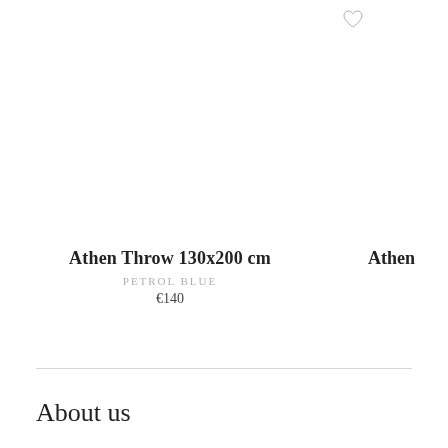[Figure (illustration): Heart/wishlist icon outline at top right area]
Athen Throw 130x200 cm
PETROL BLUE
€140
Athen
About us